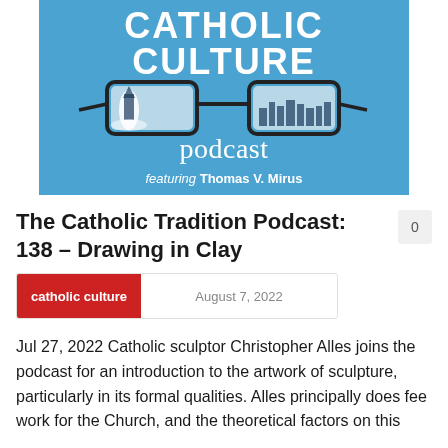[Figure (logo): Catholic Culture Podcast logo featuring sunglasses with cityscapes reflected in the lenses, on a blue background. Text reads: CATHOLIC CULTURE podcast featuring Thomas V. Mirus]
The Catholic Tradition Podcast: 138 – Drawing in Clay
0
catholic culture
August 7, 2022
Jul 27, 2022 Catholic sculptor Christopher Alles joins the podcast for an introduction to the artwork of sculpture, particularly in its formal qualities. Alles principally does fee work for the Church, and the theoretical factors on this